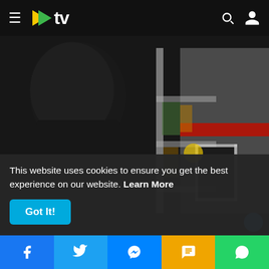≡ >tv
[Figure (screenshot): Blurry CCTV footage of a person in a dark jacket inside what appears to be a store, with shelving and a red stripe visible in the background]
This website uses cookies to ensure you get the best experience on our website. Learn More
Got It!
Facebook | Twitter | Messenger | SMS | WhatsApp